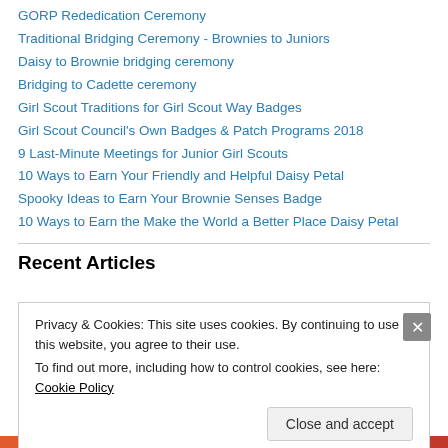GORP Rededication Ceremony
Traditional Bridging Ceremony - Brownies to Juniors
Daisy to Brownie bridging ceremony
Bridging to Cadette ceremony
Girl Scout Traditions for Girl Scout Way Badges
Girl Scout Council's Own Badges & Patch Programs 2018
9 Last-Minute Meetings for Junior Girl Scouts
10 Ways to Earn Your Friendly and Helpful Daisy Petal
Spooky Ideas to Earn Your Brownie Senses Badge
10 Ways to Earn the Make the World a Better Place Daisy Petal
Recent Articles
Privacy & Cookies: This site uses cookies. By continuing to use this website, you agree to their use. To find out more, including how to control cookies, see here: Cookie Policy